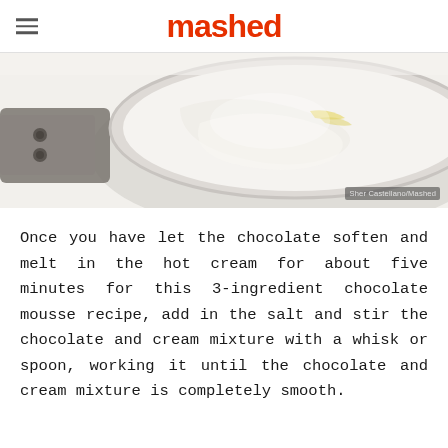mashed
[Figure (photo): Overhead view of a mixing bowl with whipped cream or chocolate mousse mixture, with a pan handle visible on the left. Photo credit: Sher Castellano/Mashed]
Once you have let the chocolate soften and melt in the hot cream for about five minutes for this 3-ingredient chocolate mousse recipe, add in the salt and stir the chocolate and cream mixture with a whisk or spoon, working it until the chocolate and cream mixture is completely smooth.